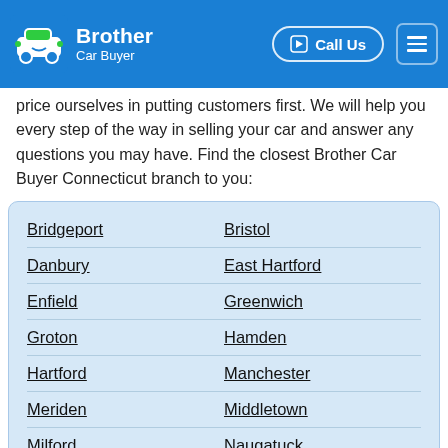Brother Car Buyer | Call Us
price ourselves in putting customers first. We will help you every step of the way in selling your car and answer any questions you may have. Find the closest Brother Car Buyer Connecticut branch to you:
Bridgeport
Bristol
Danbury
East Hartford
Enfield
Greenwich
Groton
Hamden
Hartford
Manchester
Meriden
Middletown
Milford
Naugatuck
New Britain
New Haven
Norwalk
Norwich
Shelton
Stamford
Stratford
Torrington
Trumbull
Wallingford